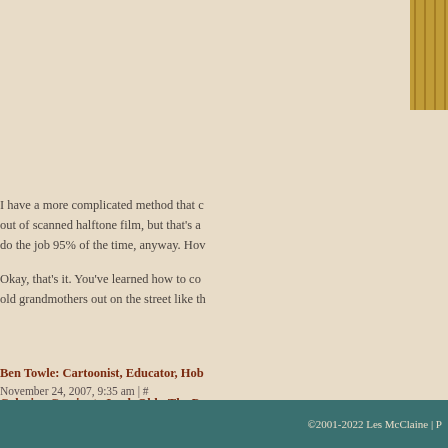[Figure (illustration): Partial decorative image in top right corner]
I have a more complicated method that c out of scanned halftone film, but that's a do the job 95% of the time, anyway. Hov
Okay, that's it. You've learned how to co old grandmothers out on the street like th
Ben Towle: Cartoonist, Educator, Hob - November 24, 2007, 9:35 am | #
Coloring Comics to Look Old - The P - August 25, 2009, 12:00 pm | #
Holy Callen, Batm... Superman! | DR - February 16, 2011, 8:21 pm | #
Drawn by Mouse, the Animated Webc - February 28, 2011, 8:20 am | #
halloween-hexcavated-truncated-cu - June 27, 2011, 9:08 pm | #
©2001-2022 Les McClaine | P